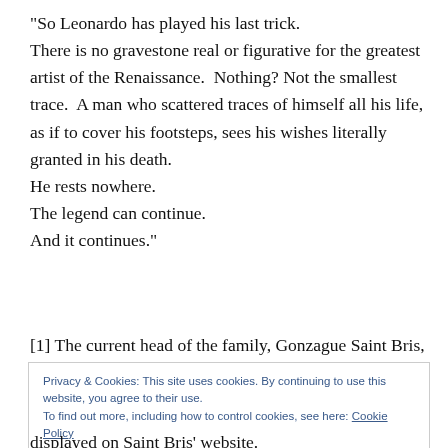“So Leonardo has played his last trick. There is no gravestone real or figurative for the greatest artist of the Renaissance.  Nothing? Not the smallest trace.  A man who scattered traces of himself all his life, as if to cover his footsteps, sees his wishes literally granted in his death.
He rests nowhere.
The legend can continue.
And it continues.”
[1] The current head of the family, Gonzague Saint Bris, is
Privacy & Cookies: This site uses cookies. By continuing to use this website, you agree to their use.
To find out more, including how to control cookies, see here: Cookie Policy
Close and accept
displayed on Saint Bris’ website.